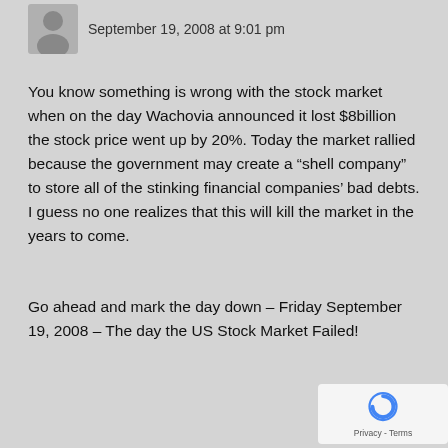September 19, 2008 at 9:01 pm
You know something is wrong with the stock market when on the day Wachovia announced it lost $8billion the stock price went up by 20%. Today the market rallied because the government may create a “shell company” to store all of the stinking financial companies’ bad debts. I guess no one realizes that this will kill the market in the years to come.
Go ahead and mark the day down – Friday September 19, 2008 – The day the US Stock Market Failed!
[Figure (logo): reCAPTCHA logo badge with Privacy and Terms text]